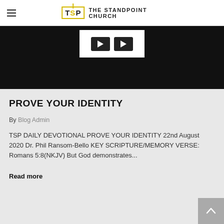THE STANDPOINT CHURCH
[Figure (screenshot): Dark hero image with a white video player preview box showing play controls in the center top area]
PROVE YOUR IDENTITY
By Blog Admin
TSP DAILY DEVOTIONAL PROVE YOUR IDENTITY 22nd August 2020 Dr. Phil Ransom-Bello KEY SCRIPTURE/MEMORY VERSE: Romans 5:8(NKJV) But God demonstrates...
Read more